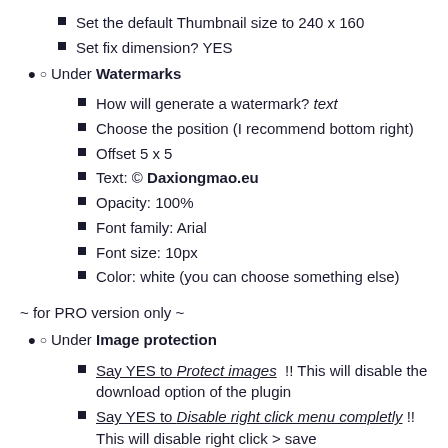Set the default Thumbnail size to 240 x 160
Set fix dimension? YES
Under Watermarks
How will generate a watermark? text
Choose the position (I recommend bottom right)
Offset 5 x 5
Text: © Daxiongmao.eu
Opacity: 100%
Font family: Arial
Font size: 10px
Color: white (you can choose something else)
~ for PRO version only ~
Under Image protection
Say YES to Protect images !! This will disable the download option of the plugin
Say YES to Disable right click menu completly !! This will disable right click > save